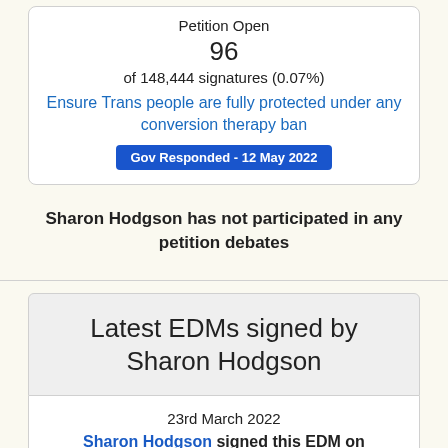Petition Open
96
of 148,444 signatures (0.07%)
Ensure Trans people are fully protected under any conversion therapy ban
Gov Responded - 12 May 2022
Sharon Hodgson has not participated in any petition debates
Latest EDMs signed by Sharon Hodgson
23rd March 2022
Sharon Hodgson signed this EDM on Thursday